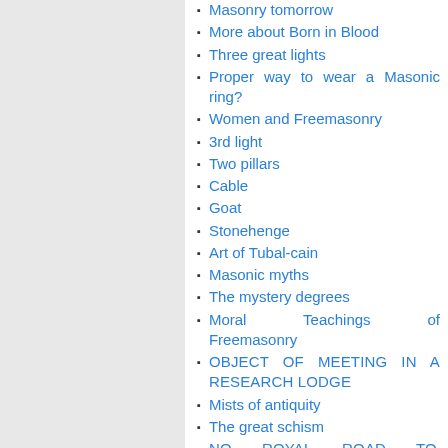Masonry tomorrow
More about Born in Blood
Three great lights
Proper way to wear a Masonic ring?
Women and Freemasonry
3rd light
Two pillars
Cable
Goat
Stonehenge
Art of Tubal-cain
Masonic myths
The mystery degrees
Moral Teachings of Freemasonry
OBJECT OF MEETING IN A RESEARCH LODGE
Mists of antiquity
The great schism
NO ROYAL ROAD TO